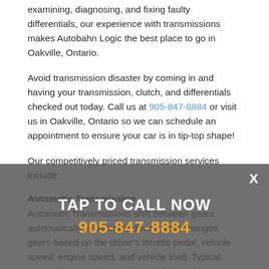examining, diagnosing, and fixing faulty differentials, our experience with transmissions makes Autobahn Logic the best place to go in Oakville, Ontario.
Avoid transmission disaster by coming in and having your transmission, clutch, and differentials checked out today. Call us at 905-847-8884 or visit us in Oakville, Ontario so we can schedule an appointment to ensure your car is in tip-top shape!
Our competitively priced transmission services include:
Automatic Transmission
Automatic Transmissions shift between gears automatically to optimize driving, and changes gears based on the driver's throttle pedal, vehicle speed, engine speed, and vehicle load. Typical automatic transmissions have 4-5 forward gear ratios, a Reverse, Park, and Neutral gear. Shifting gears occur automatically once the car is in Drive and there is no need for a clutch pedal or gear shifter by the driver. Manual Transmission, Automatic
[Figure (other): Tap to call now overlay banner with phone number 905-847-8884 and close button X]